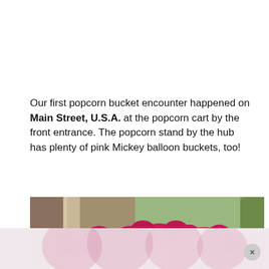Our first popcorn bucket encounter happened on Main Street, U.S.A. at the popcorn cart by the front entrance. The popcorn stand by the hub has plenty of pink Mickey balloon buckets, too!
[Figure (photo): Photo of multiple pink Mickey Mouse balloon-shaped popcorn buckets displayed together on a popcorn cart at Main Street, U.S.A. The background shows architectural columns, ornate iron décor, and green foliage through a window. A faded/reflected version of the image appears at the bottom as an ad overlay.]